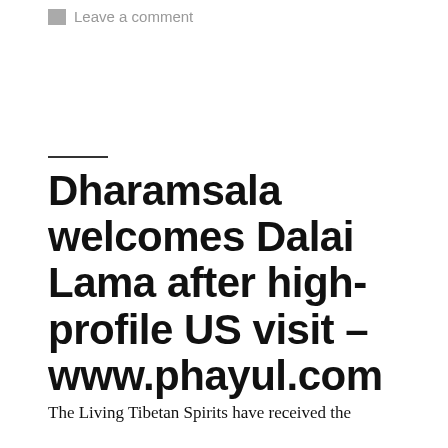Leave a comment
Dharamsala welcomes Dalai Lama after high-profile US visit – www.phayul.com
The Living Tibetan Spirits have received the